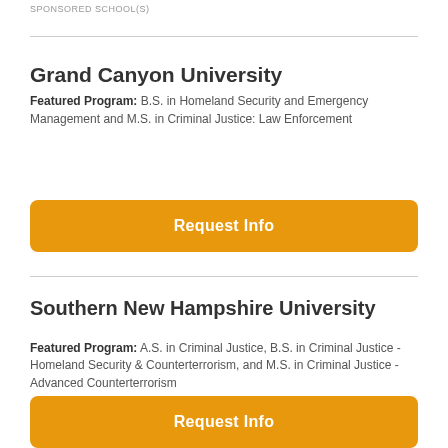SPONSORED SCHOOL(S)
Grand Canyon University
Featured Program: B.S. in Homeland Security and Emergency Management and M.S. in Criminal Justice: Law Enforcement
Request Info
Southern New Hampshire University
Featured Program: A.S. in Criminal Justice, B.S. in Criminal Justice - Homeland Security & Counterterrorism, and M.S. in Criminal Justice - Advanced Counterterrorism
Request Info